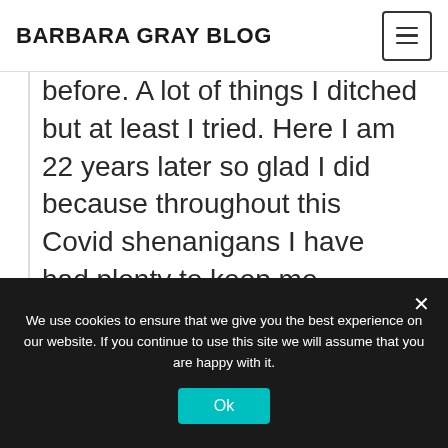BARBARA GRAY BLOG
before. A lot of things I ditched but at least I tried. Here I am 22 years later so glad I did because throughout this Covid shenanigans I have had plenty to keep me occupied and ( maybe ) out of mischief apart from spending too much on crafty stuff.
We use cookies to ensure that we give you the best experience on our website. If you continue to use this site we will assume that you are happy with it.